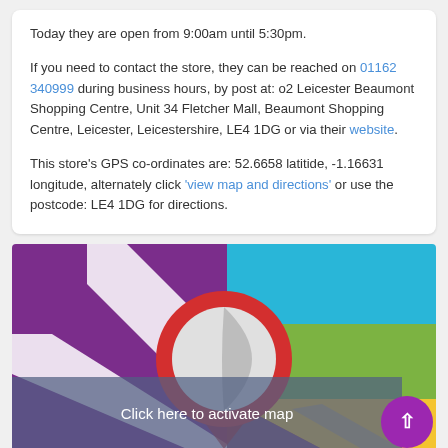Today they are open from 9:00am until 5:30pm.
If you need to contact the store, they can be reached on 01162 340999 during business hours, by post at: o2 Leicester Beaumont Shopping Centre, Unit 34 Fletcher Mall, Beaumont Shopping Centre, Leicester, Leicestershire, LE4 1DG or via their website.
This store's GPS co-ordinates are: 52.6658 latitide, -1.16631 longitude, alternately click 'view map and directions' or use the postcode: LE4 1DG for directions.
[Figure (map): Interactive map showing location pin over a colorful illustrated map background with a 'Click here to activate map' overlay and a purple scroll-to-top button.]